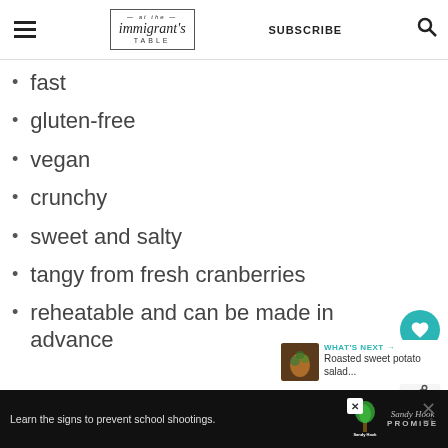at the immigrant's table — SUBSCRIBE
fast
gluten-free
vegan
crunchy
sweet and salty
tangy from fresh cranberries
reheatable and can be made in advance
WHAT'S NEXT → Roasted sweet potato salad...
Learn the signs to prevent school shootings. Sandy Hook Promise